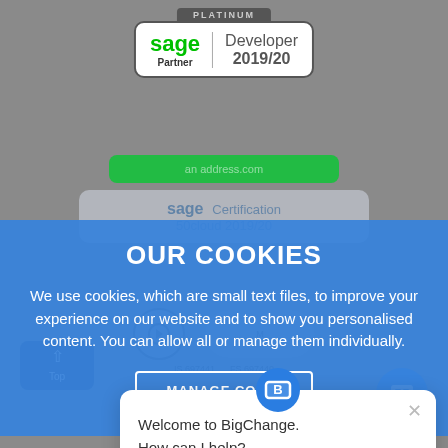[Figure (logo): Sage Partner PLATINUM Developer 2019/20 badge with green Sage logo]
[Figure (screenshot): Background website screenshot showing Sage 50cloud certification badges and green button]
OUR COOKIES
We use cookies, which are small text files, to improve your experience on our website and to show you personalised content. You can allow all or manage them individually.
MANAGE COO...
IS 697441    FS 697440
rated 4.6 out of 5 stars on
[Figure (logo): Capterra logo with orange arrow]
Welcome to BigChange.
How can I help?